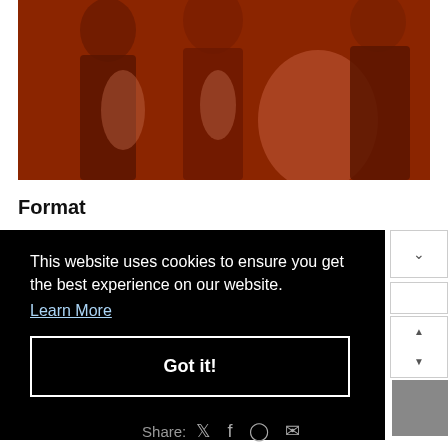[Figure (photo): Sepia/red-toned vintage photograph of a group of people standing outdoors]
Format
This website uses cookies to ensure you get the best experience on our website.
Learn More
Got it!
Share: